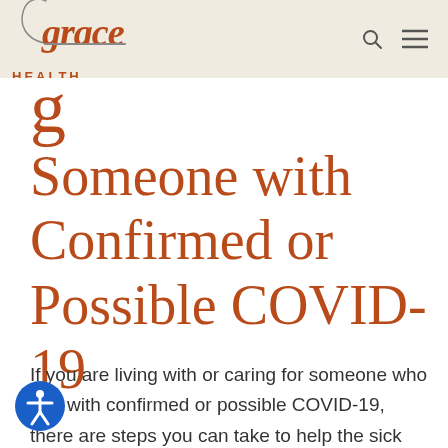Grace Health
Someone with Confirmed or Possible COVID-19
If you are living with or caring for someone who is ill with confirmed or possible COVID-19, there are steps you can take to help the sick person and